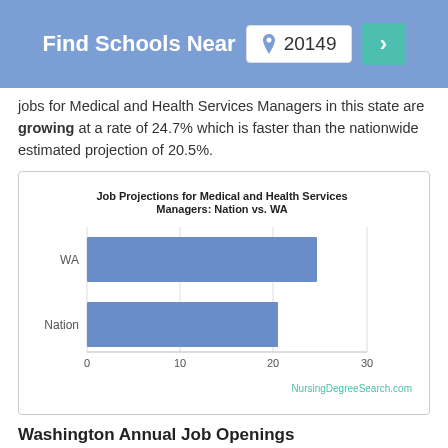Find Schools Near 20149
Jobs for Medical and Health Services Managers in this state are growing at a rate of 24.7% which is faster than the nationwide estimated projection of 20.5%.
[Figure (bar-chart): Job Projections for Medical and Health Services Managers: Nation vs. WA]
Washington Annual Job Openings
The BLS estimates there will be 750 annual job openings, and 8,480 total jobs in 2026 for Medical and Health Services Managers in this state.